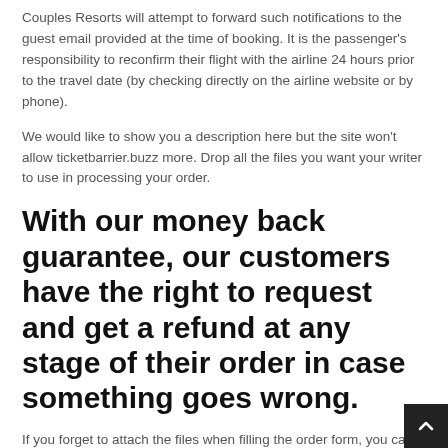Couples Resorts will attempt to forward such notifications to the guest email provided at the time of booking. It is the passenger's responsibility to reconfirm their flight with the airline 24 hours prior to the travel date (by checking directly on the airline website or by phone).
We would like to show you a description here but the site won't allow ticketbarrier.buzz more. Drop all the files you want your writer to use in processing your order.
With our money back guarantee, our customers have the right to request and get a refund at any stage of their order in case something goes wrong.
If you forget to attach the files when filling the order form, you can upload them by clicking on the “files” button on your personal order page. The files should be uploaded as soon as possible to give the writer time to review and use them in processing you